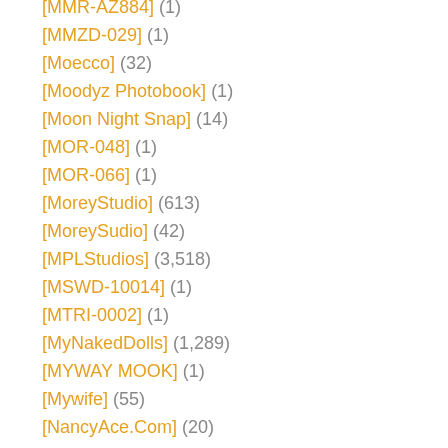[MMR-AZ884] (1)
[MMZD-029] (1)
[Moecco] (32)
[Moodyz Photobook] (1)
[Moon Night Snap] (14)
[MOR-048] (1)
[MOR-066] (1)
[MoreyStudio] (613)
[MoreySudio] (42)
[MPLStudios] (3,518)
[MSWD-10014] (1)
[MTRI-0002] (1)
[MyNakedDolls] (1,289)
[MYWAY MOOK] (1)
[Mywife] (55)
[NancyAce.Com] (20)